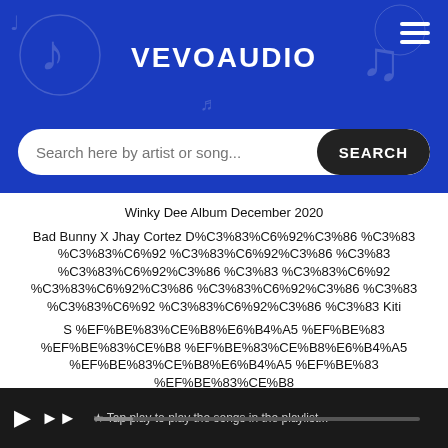VEVOAUDIO
Search here by artist or song...
Winky Dee Album December 2020
Bad Bunny X Jhay Cortez D%C3%83%C6%92%C3%86 %C3%83 %C3%83%C6%92 %C3%83%C6%92%C3%86 %C3%83 %C3%83%C6%92%C3%86 %C3%83 %C3%83%C6%92 %C3%83%C6%92%C3%86 %C3%83%C6%92%C3%86 %C3%83 %C3%83%C6%92 %C3%83%C6%92%C3%86 %C3%83 Kiti
S %EF%BE%83%CE%B8%E6%B4%A5 %EF%BE%83 %EF%BE%83%CE%B8 %EF%BE%83%CE%B8%E6%B4%A5 %EF%BE%83%CE%B8%E6%B4%A5 %EF%BE%83 %EF%BE%83%CE%B8 Pra Contrariar Depois Do Prazer
Yvan A Toi La Gloire
%C3%A3%C6%92%C3%A2 Acceptance Speech Feat B I Epik High
Ros%EF%BE%83%CE%B8%E6%B4%A5 %EF%BE%83 %EF%BE%83%CE%B8 %EF%BE%83%CE%B8%E6%B4%A5 %EF%BE%83%CE%B8 %EF%BE%83%CE%B8%E6%B4%A5 %EF%BE%83 %EF%BE%83%CE%B8 %EF%BE%83 %EF%BE%83%CE%B8%E6%B4%A5 %EF%BE%83 %EF%BE%83%CE%B8 Gone Lyrics
K%E0%B8%A3 Amiesz Black Swan Ks Bloom Die Li A Title
★ Tap play to play the songs in the playlist...